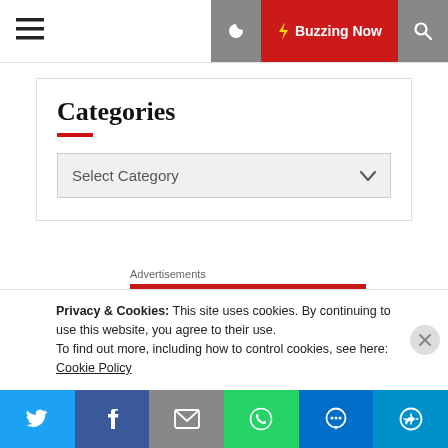☰  🌙 ⚡ Buzzing Now 🔍
Categories
Select Category
Advertisements
[Figure (logo): Longreads logo and advertisement banner on red background with circle L logo and text 'LONGREADS' and 'The best stories on...']
Privacy & Cookies: This site uses cookies. By continuing to use this website, you agree to their use.
To find out more, including how to control cookies, see here: Cookie Policy
Twitter  Facebook  Email  WhatsApp  SMS  More